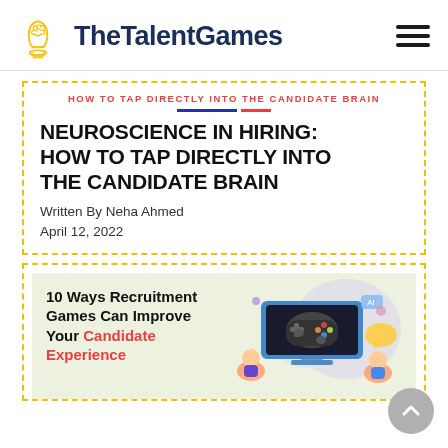TheTalentGames
HOW TO TAP DIRECTLY INTO THE CANDIDATE BRAIN
NEUROSCIENCE IN HIRING: HOW TO TAP DIRECTLY INTO THE CANDIDATE BRAIN
Written By Neha Ahmed
April 12, 2022
[Figure (illustration): 10 Ways Recruitment Games Can Improve Your Candidate Experience - article card with illustration of person at computer gaming setup]
10 Ways Recruitment Games Can Improve Your Candidate Experience